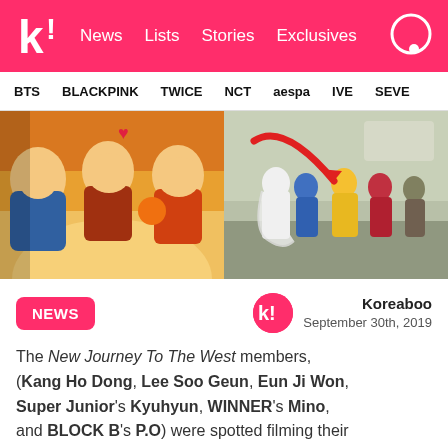k! News Lists Stories Exclusives
BTS BLACKPINK TWICE NCT aespa IVE SEVE
[Figure (photo): Left side: animated/illustrated poster for New Journey To The West showing three male characters in colorful costumes against an orange background. Right side: real-life photo of group of people in costumes crouching outdoors, with a red arrow pointing to one person in a yellow costume.]
NEWS
Koreaboo
September 30th, 2019
The New Journey To The West members, (Kang Ho Dong, Lee Soo Geun, Eun Ji Won, Super Junior's Kyuhyun, WINNER's Mino, and BLOCK B's P.O) were spotted filming their